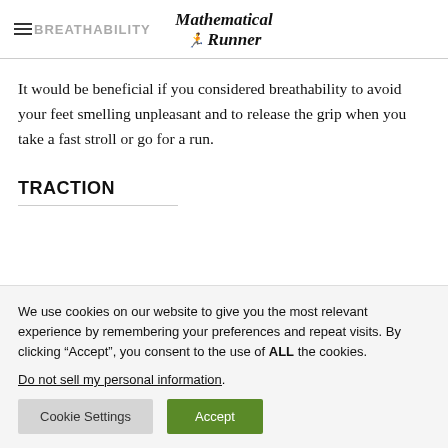Mathematical Runner
It would be beneficial if you considered breathability to avoid your feet smelling unpleasant and to release the grip when you take a fast stroll or go for a run.
TRACTION
We use cookies on our website to give you the most relevant experience by remembering your preferences and repeat visits. By clicking “Accept”, you consent to the use of ALL the cookies. Do not sell my personal information.